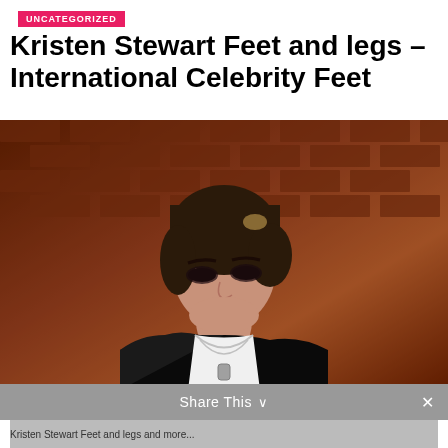UNCATEGORIZED
Kristen Stewart Feet and legs – International Celebrity Feet
[Figure (photo): Portrait photo of a young woman with short brunette hair, wearing a black leather jacket over a white top with silver chain necklaces, posed against a terracotta/brown geometric wall background. She has dramatic eye makeup and red lips.]
Share This
Kristen Stewart Feet and legs and more...